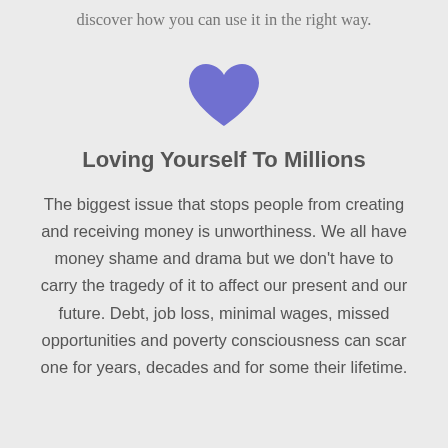discover how you can use it in the right way.
[Figure (illustration): A purple/blue heart icon centered on the page]
Loving Yourself To Millions
The biggest issue that stops people from creating and receiving money is unworthiness. We all have money shame and drama but we don't have to carry the tragedy of it to affect our present and our future. Debt, job loss, minimal wages, missed opportunities and poverty consciousness can scar one for years, decades and for some their lifetime.